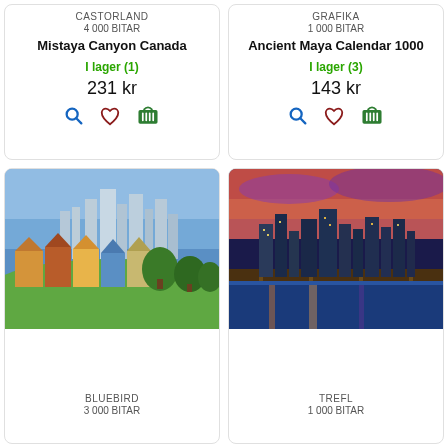CASTORLAND
4 000 BITAR
Mistaya Canyon Canada
I lager (1)
231 kr
GRAFIKA
1 000 BITAR
Ancient Maya Calendar 1000
I lager (3)
143 kr
[Figure (photo): San Francisco Victorian houses (Painted Ladies) with city skyline in background]
BLUEBIRD
3 000 BITAR
[Figure (photo): Pittsburgh city skyline at sunset with river and bridge]
TREFL
1 000 BITAR